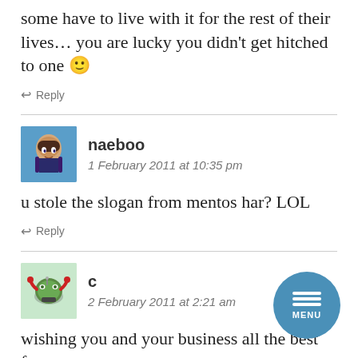some have to live with it for the rest of their lives... you are lucky you didn't get hitched to one 🙂
↩ Reply
naeboo
1 February 2011 at 10:35 pm
u stole the slogan from mentos har? LOL
↩ Reply
c
2 February 2011 at 2:21 am
wishing you and your business all the best fo... by the way, you might want to consider fixing your teeth as a resolution. i got braces and i feel great 🙂